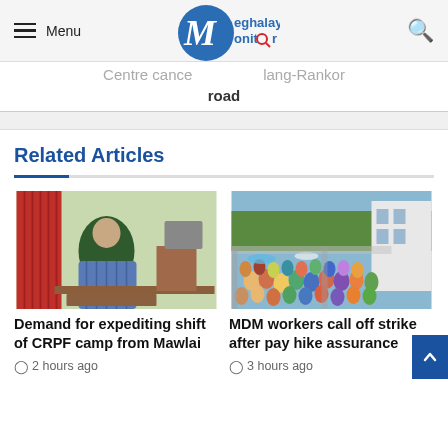Menu | Meghalaya Monitor
Centre cance... ...lang-Rankor road
Related Articles
[Figure (photo): Man in plaid jacket sitting at an office desk]
Demand for expediting shift of CRPF camp from Mawlai
2 hours ago
[Figure (photo): Large crowd of people outdoors gathered at an event]
MDM workers call off strike after pay hike assurance
3 hours ago